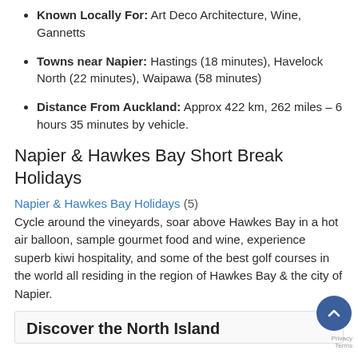Known Locally For: Art Deco Architecture, Wine, Gannetts
Towns near Napier: Hastings (18 minutes), Havelock North (22 minutes), Waipawa (58 minutes)
Distance From Auckland: Approx 422 km, 262 miles – 6 hours 35 minutes by vehicle.
Napier & Hawkes Bay Short Break Holidays
Napier & Hawkes Bay Holidays (5)
Cycle around the vineyards, soar above Hawkes Bay in a hot air balloon, sample gourmet food and wine, experience superb kiwi hospitality, and some of the best golf courses in the world all residing in the region of Hawkes Bay & the city of Napier.
Discover the North Island